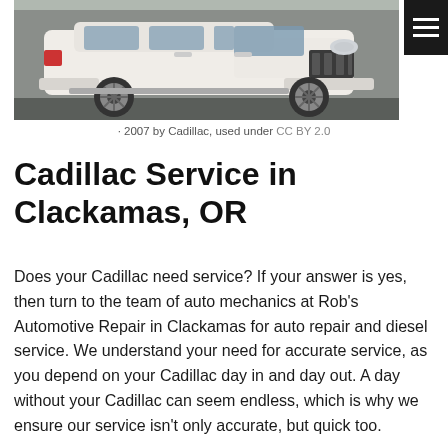[Figure (photo): White Cadillac Escalade SUV photographed from a front three-quarter angle on a street]
2007 by Cadillac, used under CC BY 2.0
Cadillac Service in Clackamas, OR
Does your Cadillac need service? If your answer is yes, then turn to the team of auto mechanics at Rob's Automotive Repair in Clackamas for auto repair and diesel service. We understand your need for accurate service, as you depend on your Cadillac day in and day out. A day without your Cadillac can seem endless, which is why we ensure our service isn't only accurate, but quick too.